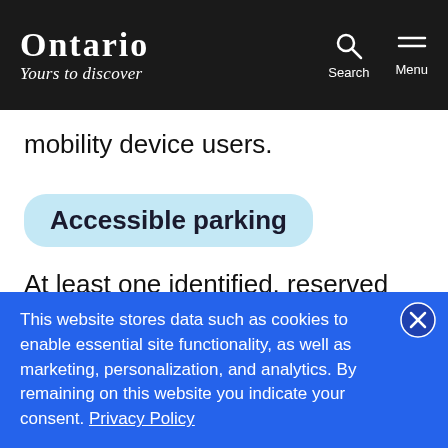Ontario – Yours to Discover | Search | Menu
mobility device users.
Accessible parking
At least one identified, reserved parking space with a safe, clearly marked accessible route from the designated
This website stores data such as cookies to enable essential site functionality, as well as marketing, personalization, and analytics. By remaining on this website you indicate your consent. Privacy Policy